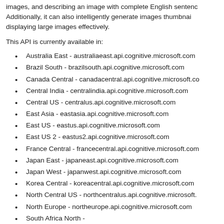images, and describing an image with complete English sentences. Additionally, it can also intelligently generate images thumbnails displaying large images effectively.
This API is currently available in:
Australia East - australiaeast.api.cognitive.microsoft.com
Brazil South - brazilsouth.api.cognitive.microsoft.com
Canada Central - canadacentral.api.cognitive.microsoft.com
Central India - centralindia.api.cognitive.microsoft.com
Central US - centralus.api.cognitive.microsoft.com
East Asia - eastasia.api.cognitive.microsoft.com
East US - eastus.api.cognitive.microsoft.com
East US 2 - eastus2.api.cognitive.microsoft.com
France Central - francecentral.api.cognitive.microsoft.com
Japan East - japaneast.api.cognitive.microsoft.com
Japan West - japanwest.api.cognitive.microsoft.com
Korea Central - koreacentral.api.cognitive.microsoft.com
North Central US - northcentralus.api.cognitive.microsoft.com
North Europe - northeurope.api.cognitive.microsoft.com
South Africa North - southafricanorth.api.cognitive.microsoft.com
South Central US - southcentralus.api.cognitive.microsoft.com
Southeast Asia - southeastasia.api.cognitive.microsoft.com